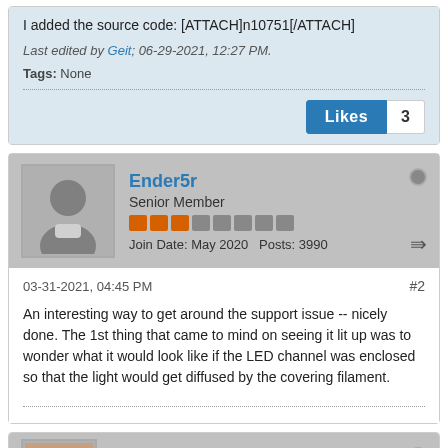I added the source code: [ATTACH]n10751[/ATTACH]
Last edited by Geit; 06-29-2021, 12:27 PM.
Tags: None
Likes 3
Ender5r
Senior Member
Join Date: May 2020   Posts: 3990
03-31-2021, 04:45 PM
#2
An interesting way to get around the support issue -- nicely done. The 1st thing that came to mind on seeing it lit up was to wonder what it would look like if the LED channel was enclosed so that the light would get diffused by the covering filament.
Geit
Senior Member